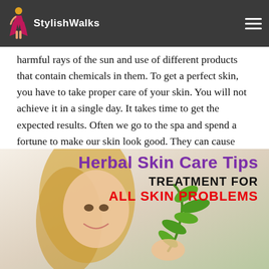StylishWalks
harmful rays of the sun and use of different products that contain chemicals in them. To get a perfect skin, you have to take proper care of your skin. You will not achieve it in a single day. It takes time to get the expected results. Often we go to the spa and spend a fortune to make our skin look good. They can cause you more harm than good in the long run.
[Figure (photo): A smiling blonde woman holding a green plant/herb against a light background, with overlaid text: 'Herbal Skin Care Tips - Treatment for All Skin Problems']